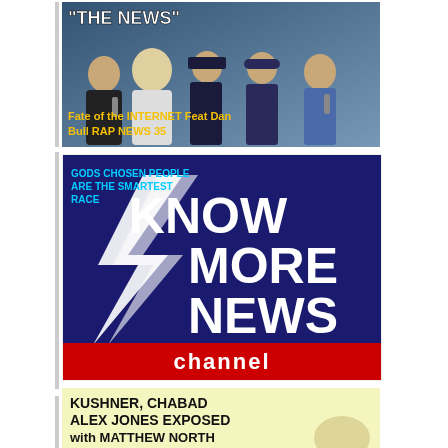[Figure (photo): Thumbnail image showing five people posing as news reporters/anchors with text overlay '"THE NEWS"' and subtitle 'Fate of the INTERNET Feat Dan Bull RAP NEWS 35']
[Figure (logo): Know More News channel logo on dark blue background with white lightning bolt graphic, text 'KNOW MORE NEWS' in large white letters, 'channel' in white on red banner at bottom, and overlay text 'GODS CHOSEN PEOPLE ARE THE SMARTEST RACE' in cyan]
[Figure (photo): Thumbnail with yellow-green background showing text 'KUSHNER, CHABAD ALEX JONES EXPOSED with MATTHEW NORTH' in bold black, with a person's face partially visible at the bottom]